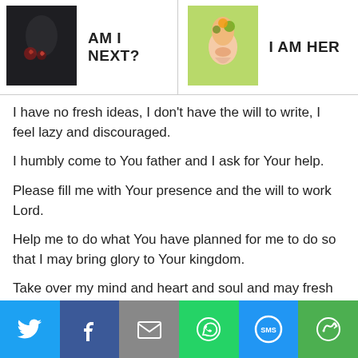[Figure (photo): Dark thumbnail image with flower/rose motif, for 'AM I NEXT?' post]
AM I NEXT?
[Figure (illustration): Green illustrated thumbnail of a woman with leaves/flowers, for 'I AM HER' post]
I AM HER
I have no fresh ideas, I don't have the will to write, I feel lazy and discouraged.
I humbly come to You father and I ask for Your help.
Please fill me with Your presence and the will to work Lord.
Help me to do what You have planned for me to do so that I may bring glory to Your kingdom.
Take over my mind and heart and soul and may fresh anointed ideas spring from me like living waters.
Social share bar: Twitter, Facebook, Email, WhatsApp, SMS, More